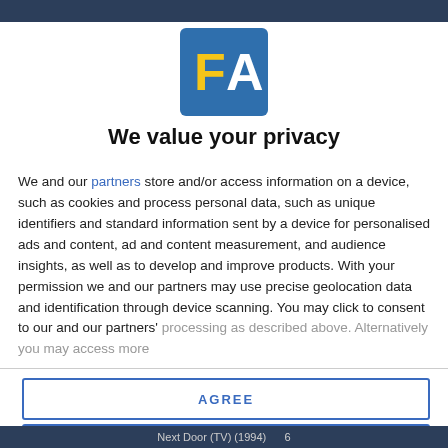[Figure (logo): FA logo — blue square background with yellow 'F' and white 'A' letters]
We value your privacy
We and our partners store and/or access information on a device, such as cookies and process personal data, such as unique identifiers and standard information sent by a device for personalised ads and content, ad and content measurement, and audience insights, as well as to develop and improve products. With your permission we and our partners may use precise geolocation data and identification through device scanning. You may click to consent to our and our partners' processing as described above. Alternatively you may access more
AGREE
MORE OPTIONS
Next Door (TV) (1994)  6